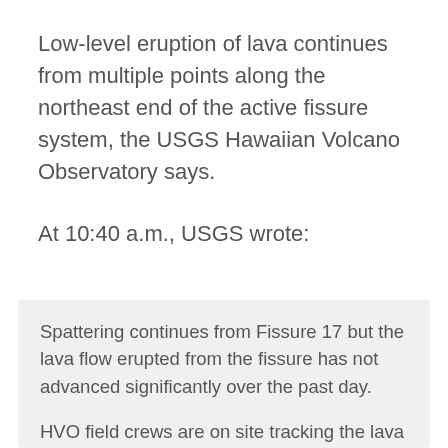Low-level eruption of lava continues from multiple points along the northeast end of the active fissure system, the USGS Hawaiian Volcano Observatory says.
At 10:40 a.m., USGS wrote:
Spattering continues from Fissure 17 but the lava flow erupted from the fissure has not advanced significantly over the past day.
HVO field crews are on site tracking the lava flow and spattering from multiple fissures as conditions allow and reporting information to Hawaii County Civil